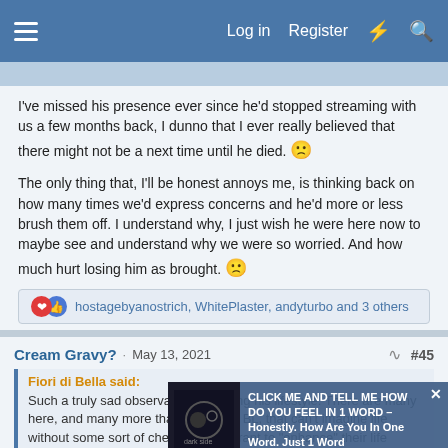Log in  Register
I've missed his presence ever since he'd stopped streaming with us a few months back, I dunno that I ever really believed that there might not be a next time until he died. 🙁
The only thing that, I'll be honest annoys me, is thinking back on how many times we'd express concerns and he'd more or less brush them off. I understand why, I just wish he were here now to maybe see and understand why we were so worried. And how much hurt losing him as brought. 🙁
hostagebyanostrich, WhitePlaster, andyturbo and 3 others
Cream Gravy? · May 13, 2021 #45
Fiori di Bella said:
Such a truly sad observation regarding his lifestyle. There are many here, and many more that are not on BL, that can't imagine life without some sort of chemical adulterant to "enhance" their life